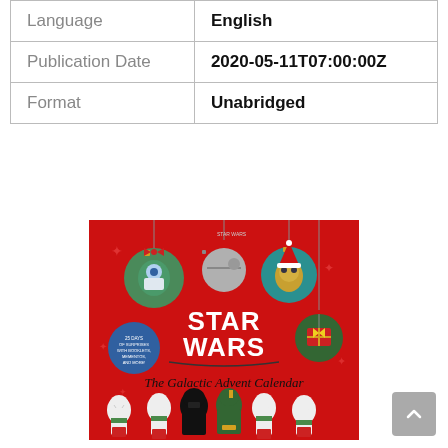|  |  |
| --- | --- |
| Language | English |
| Publication Date | 2020-05-11T07:00:00Z |
| Format | Unabridged |
[Figure (illustration): Book cover of 'Star Wars: The Galactic Advent Calendar' with a red background showing Christmas ornaments featuring Star Wars characters (R2-D2, Death Star, C-3PO), Star Wars logo in white, and stormtroopers/Darth Vader/Boba Fett caroling at the bottom.]